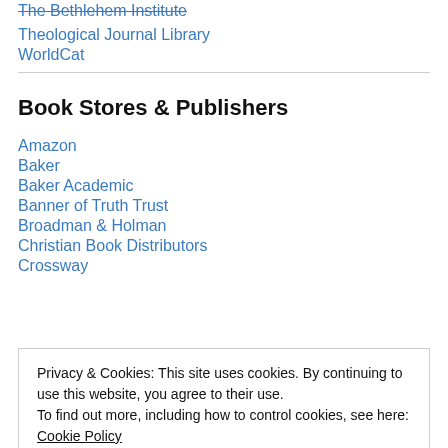The Bethlehem Institute
Theological Journal Library
WorldCat
Book Stores & Publishers
Amazon
Baker
Baker Academic
Banner of Truth Trust
Broadman & Holman
Christian Book Distributors
Crossway
Privacy & Cookies: This site uses cookies. By continuing to use this website, you agree to their use.
To find out more, including how to control cookies, see here: Cookie Policy
Close and accept